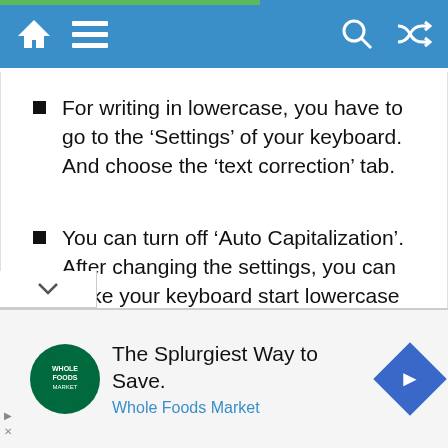Navigation bar with home, menu, search, and shuffle icons
For writing in lowercase, you have to go to the ‘Settings’ of your keyboard. And choose the ‘text correction’ tab.
You can turn off ‘Auto Capitalization’. After changing the settings, you can make your keyboard start lowercase on your Samsung phone.
[Figure (screenshot): Advertisement banner: Whole Foods Market - The Splurgiest Way to Save.]